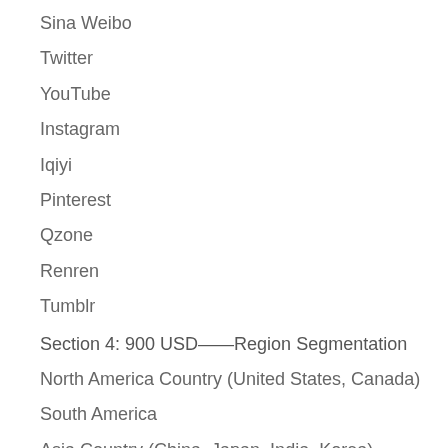Sina Weibo
Twitter
YouTube
Instagram
Iqiyi
Pinterest
Qzone
Renren
Tumblr
Section 4: 900 USD——Region Segmentation
North America Country (United States, Canada)
South America
Asia Country (China, Japan, India, Korea)